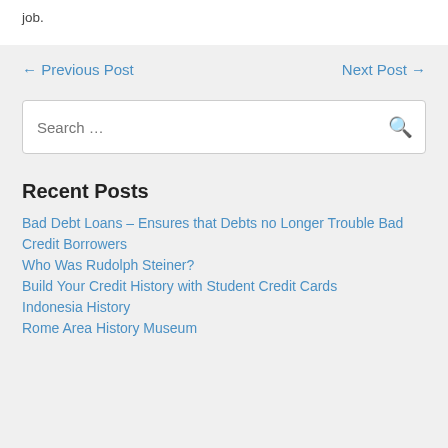job.
← Previous Post
Next Post →
Search …
Recent Posts
Bad Debt Loans – Ensures that Debts no Longer Trouble Bad Credit Borrowers
Who Was Rudolph Steiner?
Build Your Credit History with Student Credit Cards
Indonesia History
Rome Area History Museum